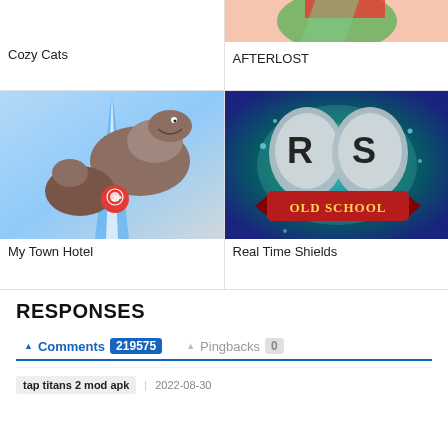[Figure (screenshot): Top partial row: Cozy Cats (left) and AFTERLOST (right) game cards with partial images]
Cozy Cats
AFTERLOST
[Figure (screenshot): My Town Hotel game card with dinosaur/park image]
My Town Hotel
[Figure (screenshot): Real Time Shields game card with RS Old School logo]
Real Time Shields
RESPONSES
Comments 219575    Pingbacks 0
tap titans 2 mod apk    2022-08-30